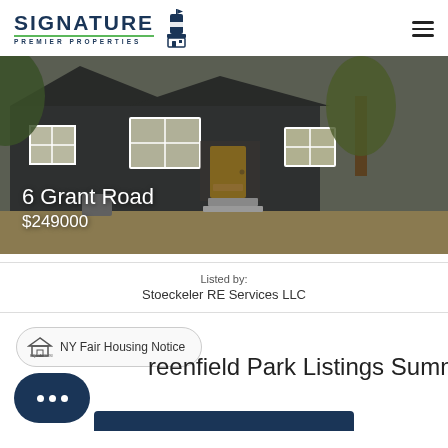[Figure (logo): Signature Premier Properties logo with lighthouse icon and green underline]
[Figure (photo): Exterior photo of a dark gray house with a yellow front door at 6 Grant Road]
6 Grant Road
$249000
Listed by:
Stoeckeler RE Services LLC
NY Fair Housing Notice
reenfield Park Listings Summary